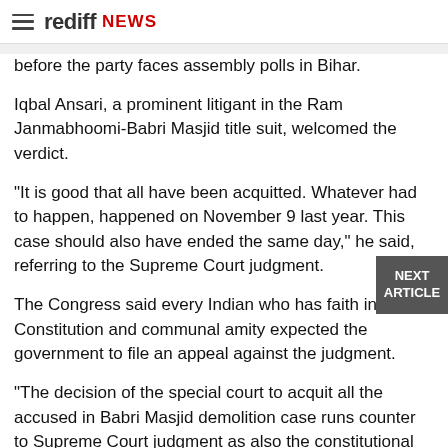rediff NEWS
before the party faces assembly polls in Bihar.
Iqbal Ansari, a prominent litigant in the Ram Janmabhoomi-Babri Masjid title suit, welcomed the verdict.
"It is good that all have been acquitted. Whatever had to happen, happened on November 9 last year. This case should also have ended the same day," he said, referring to the Supreme Court judgment.
The Congress said every Indian who has faith in the Constitution and communal amity expected the government to file an appeal against the judgment.
"The decision of the special court to acquit all the accused in Babri Masjid demolition case runs counter to Supreme Court judgment as also the constitutional spirit," party spokesperson Randeep Singh Surjewala said.
All India Majlis-e-Ittehadul Muslimeen chief Asaduddin Owaisi called the verdict "obnoxious".